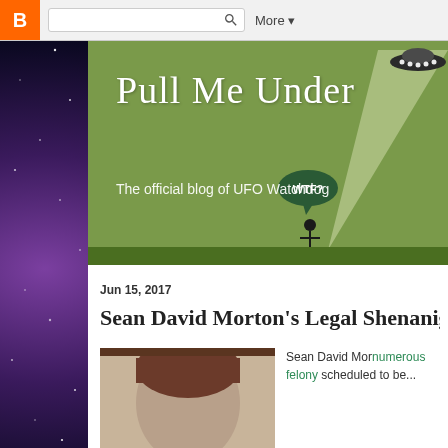[Figure (screenshot): Blogger toolbar with orange B logo, search bar, and More dropdown]
[Figure (illustration): Blog header banner with green background, UFO with light beam, stick figure saying WTF?, grass at bottom]
Pull Me Under
The official blog of UFO Watchdog
Jun 15, 2017
Sean David Morton's Legal Shenaniga...
[Figure (photo): Photo of Sean David Morton, head shot]
Sean David Mor... numerous felony... scheduled to be...